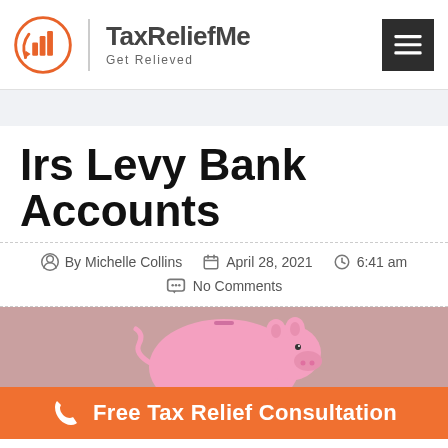TaxReliefMe — Get Relieved
Irs Levy Bank Accounts
By Michelle Collins   April 28, 2021   6:41 am   No Comments
[Figure (photo): Pink piggy bank on a reddish-brown background]
Free Tax Relief Consultation